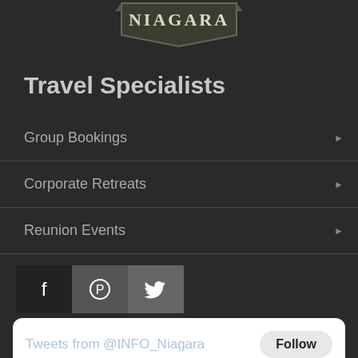[Figure (logo): Niagara logo with banner/shield shape]
Travel Specialists
Group Bookings
Corporate Retreats
Reunion Events
[Figure (infographic): Social media icons: Facebook, Pinterest, Twitter]
[Figure (screenshot): Twitter widget showing Tweets from @INFO_Niagara with Follow button and a tweet by Niagara F... @INFO_Ni... Mar 26, 2020 saying NIAGARA DAREDEVILS]